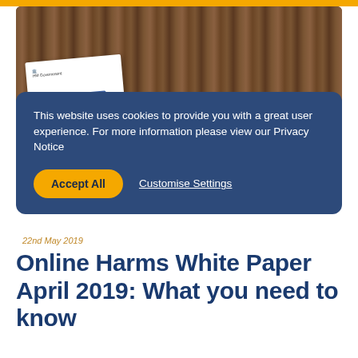[Figure (photo): Photograph of a UK Government white paper document on a wooden table surface, showing the HM Government crest and a blue cover.]
This website uses cookies to provide you with a great user experience. For more information please view our Privacy Notice
Accept All   Customise Settings
22nd May 2019
Online Harms White Paper April 2019: What you need to know